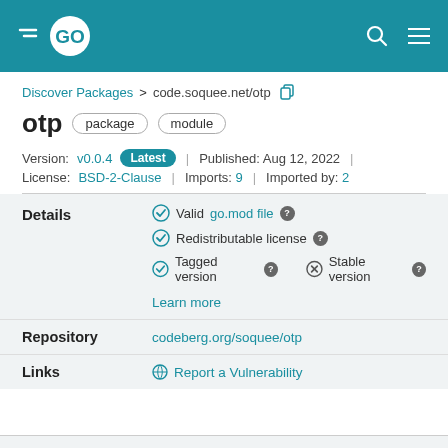GO (logo header)
Discover Packages > code.soquee.net/otp
otp  package  module
Version: v0.0.4  Latest  |  Published: Aug 12, 2022  |  License: BSD-2-Clause  |  Imports: 9  |  Imported by: 2
Details
Valid go.mod file
Redistributable license
Tagged version
Stable version
Learn more
Repository
codeberg.org/soquee/otp
Links
Report a Vulnerability